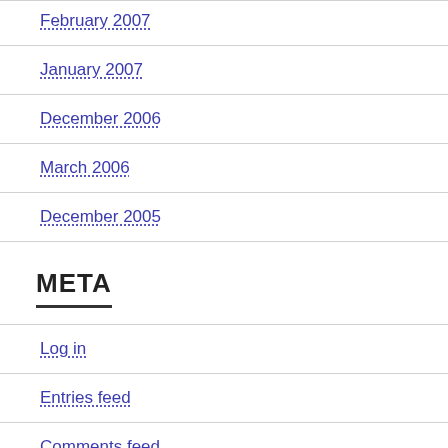February 2007
January 2007
December 2006
March 2006
December 2005
META
Log in
Entries feed
Comments feed